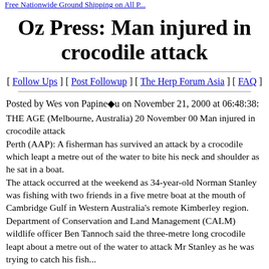Free Nationwide Ground Shipping on All P...
Oz Press: Man injured in crocodile attack
[ Follow Ups ] [ Post Followup ] [ The Herp Forum Asia ] [ FAQ ]
Posted by Wes von Papinéu on November 21, 2000 at 06:48:38:
THE AGE (Melbourne, Australia) 20 November 00 Man injured in crocodile attack
Perth (AAP): A fisherman has survived an attack by a crocodile which leapt a metre out of the water to bite his neck and shoulder as he sat in a boat.
The attack occurred at the weekend as 34-year-old Norman Stanley was fishing with two friends in a five metre boat at the mouth of Cambridge Gulf in Western Australia's remote Kimberley region. Department of Conservation and Land Management (CALM) wildlife officer Ben Tannoch said the three-metre long crocodile leapt about a metre out of the water to attack Mr Stanley as he was trying to catch his fish...